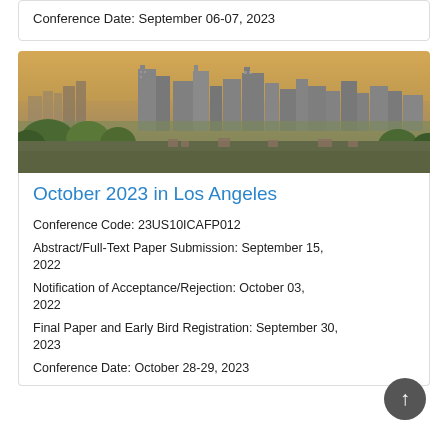Conference Date: September 06-07, 2023
[Figure (photo): Aerial/panoramic view of Los Angeles city skyline with tall skyscrapers against a hazy warm sky, with green trees and urban sprawl in the foreground.]
October 2023 in Los Angeles
Conference Code: 23US10ICAFP012
Abstract/Full-Text Paper Submission: September 15, 2022
Notification of Acceptance/Rejection: October 03, 2022
Final Paper and Early Bird Registration: September 30, 2023
Conference Date: October 28-29, 2023